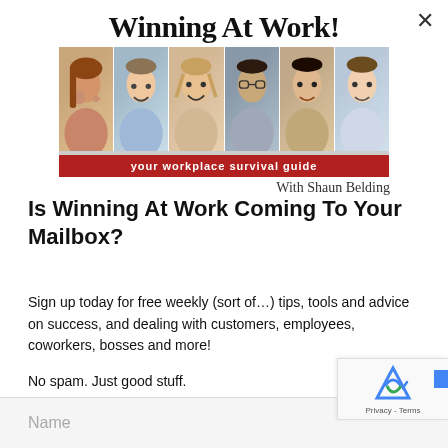[Figure (illustration): Winning At Work! banner with title text and collage of six smiling professionals, red banner reading YOUR WORKPLACE SURVIVAL GUIDE, subtitle With Shaun Belding]
Is Winning At Work Coming To Your Mailbox?
Sign up today for free weekly (sort of…) tips, tools and advice on success, and dealing with customers, employees, coworkers, bosses and more!
No spam. Just good stuff.
Name